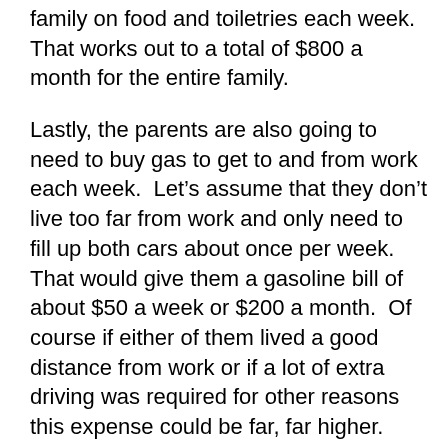family on food and toiletries each week.  That works out to a total of $800 a month for the entire family.
Lastly, the parents are also going to need to buy gas to get to and from work each week.  Let’s assume that they don’t live too far from work and only need to fill up both cars about once per week.  That would give them a gasoline bill of about $50 a week or $200 a month.  Of course if either of them lived a good distance from work or if a lot of extra driving was required for other reasons this expense could be far, far higher.
So far our family has spent $3400 out of a total of $4000 for the month.  Not bad, eh?